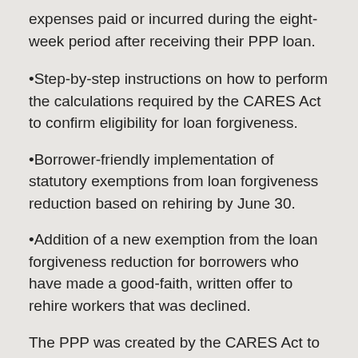expenses paid or incurred during the eight-week period after receiving their PPP loan.
•Step-by-step instructions on how to perform the calculations required by the CARES Act to confirm eligibility for loan forgiveness.
•Borrower-friendly implementation of statutory exemptions from loan forgiveness reduction based on rehiring by June 30.
•Addition of a new exemption from the loan forgiveness reduction for borrowers who have made a good-faith, written offer to rehire workers that was declined.
The PPP was created by the CARES Act to provide forgivable loans to eligible small businesses to keep American workers on the payroll during the COVID-19